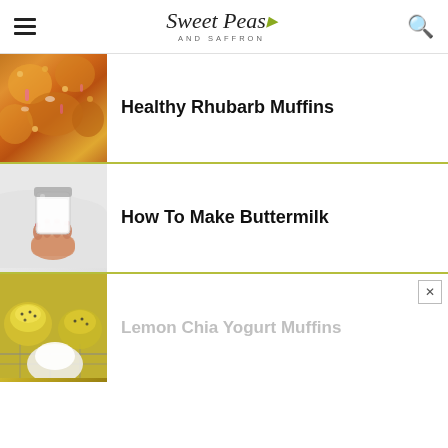Sweet Peas AND SAFFRON
[Figure (photo): Close-up photo of healthy rhubarb muffins with crumble topping]
Healthy Rhubarb Muffins
[Figure (photo): Hand holding a glass jar of buttermilk on grey marble background]
How To Make Buttermilk
[Figure (photo): Lemon chia yogurt muffins on a cooling rack]
Lemon Chia Yogurt Muffins